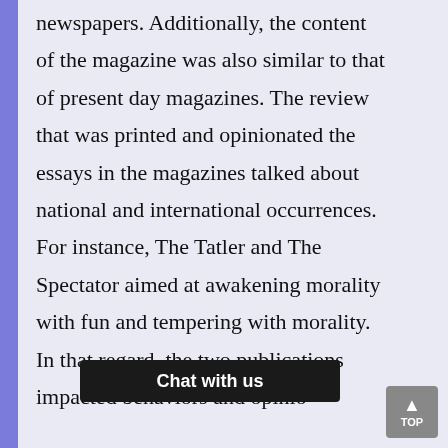newspapers. Additionally, the content of the magazine was also similar to that of present day magazines. The review that was printed and opinionated the essays in the magazines talked about national and international occurrences. For instance, The Tatler and The Spectator aimed at awakening morality with fun and tempering with morality. In that regard, the two publications impacted behaviors and opinions of